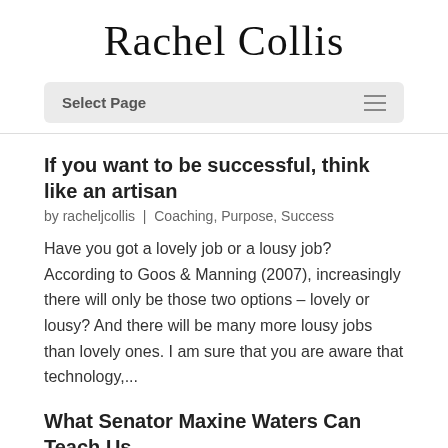Rachel Collis
Select Page
If you want to be successful, think like an artisan
by racheljcollis | Coaching, Purpose, Success
Have you got a lovely job or a lousy job? According to Goos & Manning (2007), increasingly there will only be those two options – lovely or lousy? And there will be many more lousy jobs than lovely ones. I am sure that you are aware that technology,...
What Senator Maxine Waters Can Teach Us